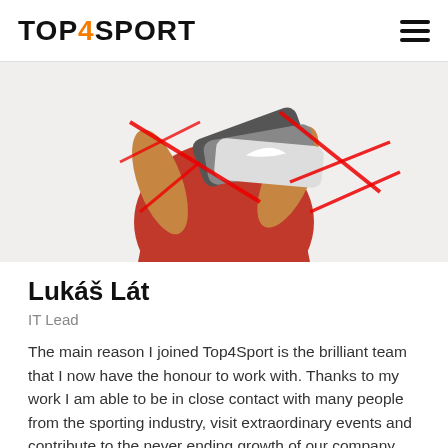TOP4SPORT
[Figure (photo): A person in red athletic outfit holding multiple Nike sneakers/shoes, with red diagonal brush strokes overlaid on the image.]
Lukáš Lát
IT Lead
The main reason I joined Top4Sport is the brilliant team that I now have the honour to work with. Thanks to my work I am able to be in close contact with many people from the sporting industry, visit extraordinary events and contribute to the never ending growth of our company.